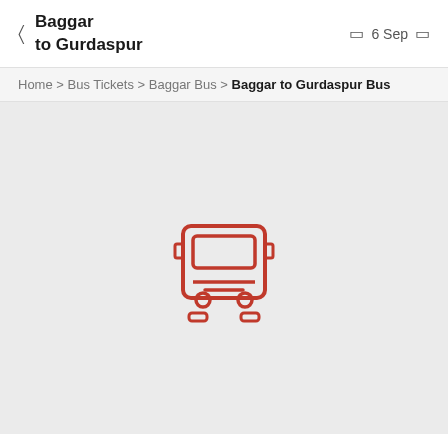Baggar to Gurdaspur | 6 Sep
Home > Bus Tickets > Baggar Bus > Baggar to Gurdaspur Bus
[Figure (illustration): Red bus icon (front view) on a light grey background]